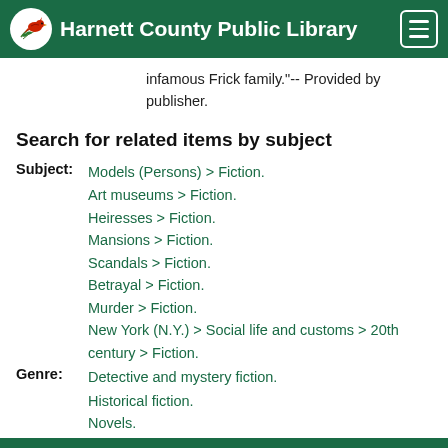Harnett County Public Library
infamous Frick family."-- Provided by publisher.
Search for related items by subject
Subject: Models (Persons) > Fiction.
Art museums > Fiction.
Heiresses > Fiction.
Mansions > Fiction.
Scandals > Fiction.
Betrayal > Fiction.
Murder > Fiction.
New York (N.Y.) > Social life and customs > 20th century > Fiction.
Genre: Detective and mystery fiction.
Historical fiction.
Novels.